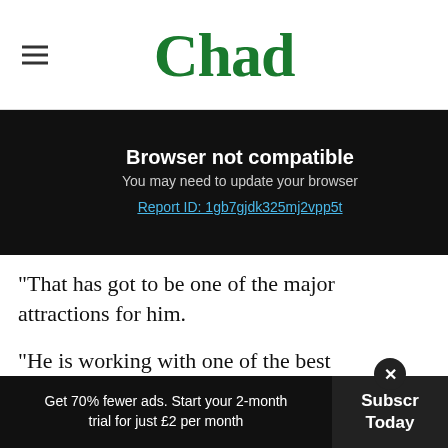Chad
Browser not compatible
You may need to update your browser
Report ID: 1gb7gjdk325mj2vpp5t
"That has got to be one of the major attractions for him.
“He is working with one of the best goalkeeping coaches and one of the most experienced goalkeeping coaches in the country.
Get 70% fewer ads. Start your 2-month trial for just £2 per month  Subscribe Today